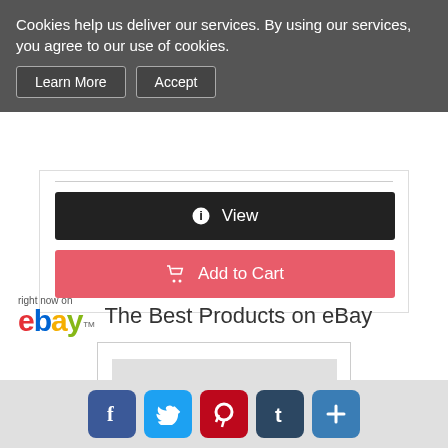Cookies help us deliver our services. By using our services, you agree to our use of cookies.
Learn More
Accept
[Figure (screenshot): View button (dark/black) and Add to Cart button (red/coral) in a product card]
[Figure (logo): eBay logo with 'right now on' text above]
The Best Products on eBay
[Figure (photo): Black Colorado Rockies New Era baseball cap with CR logo on grey background]
New Era 59Fifty Men's Cap MLB Colora...
[Figure (infographic): Social sharing bar with Facebook, Twitter, Pinterest, Tumblr, and share buttons]